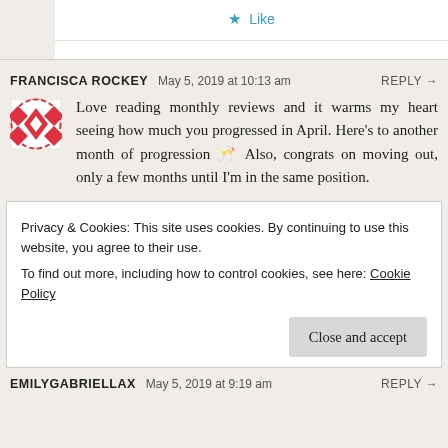★ Like
FRANCISCA ROCKEY   May 5, 2019 at 10:13 am   REPLY →
Love reading monthly reviews and it warms my heart seeing how much you progressed in April. Here's to another month of progression 🥂 Also, congrats on moving out, only a few months until I'm in the same position.
Privacy & Cookies: This site uses cookies. By continuing to use this website, you agree to their use.
To find out more, including how to control cookies, see here: Cookie Policy
Close and accept
EMILYGABRIELLAX   May 5, 2019 at 9:19 am   REPLY →